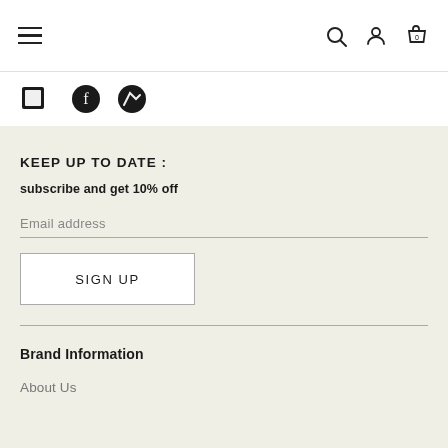Navigation bar with hamburger menu, search, account, and cart icons
[Figure (screenshot): Partially visible social media icons (appears to be platform logos) cropped at top]
KEEP UP TO DATE :
subscribe and get 10% off
Email address
SIGN UP
Brand Information
About Us